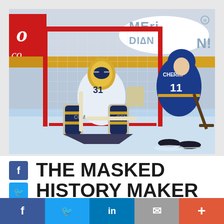[Figure (photo): Women's ice hockey action shot: a goalie in white/navy CCM gear crouches in front of a red goal net, while a player in blue and gold jersey (#11, CHERYL) skates in from the right attempting a shot. Arena boards show Meridian and Coca-Cola signage in the background.]
THE MASKED HISTORY MAKER
[Figure (infographic): Bottom social share bar with Facebook (blue), Twitter (light blue), LinkedIn (dark blue), Email (grey), and More (orange-red) buttons.]